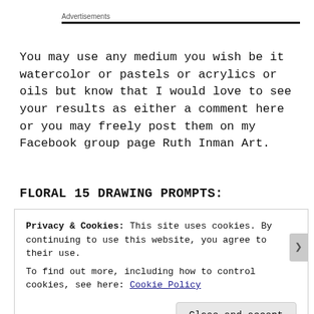Advertisements
You may use any medium you wish be it watercolor or pastels or acrylics or oils but know that I would love to see your results as either a comment here or you may freely post them on my Facebook group page Ruth Inman Art.
FLORAL 15 DRAWING PROMPTS:
Privacy & Cookies: This site uses cookies. By continuing to use this website, you agree to their use.
To find out more, including how to control cookies, see here: Cookie Policy
Close and accept